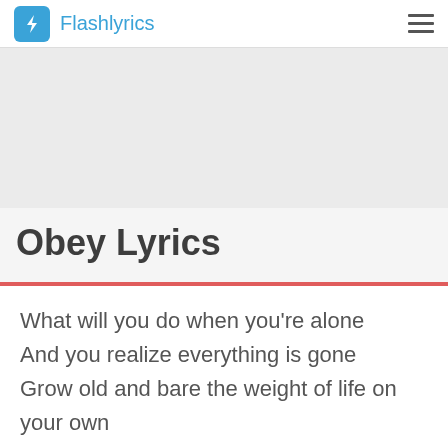Flashlyrics
Obey Lyrics
What will you do when you're alone
And you realize everything is gone
Grow old and bare the weight of life on your own
They always told you that this is the truth
That you'll get everything, you can be